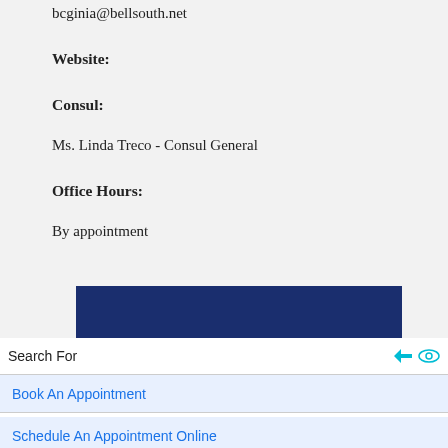bcginia@bellsouth.net
Website:
Consul:
Ms. Linda Treco - Consul General
Office Hours:
By appointment
[Figure (other): Dark navy blue rectangular banner bar]
Search For
Book An Appointment
Schedule An Appointment Online